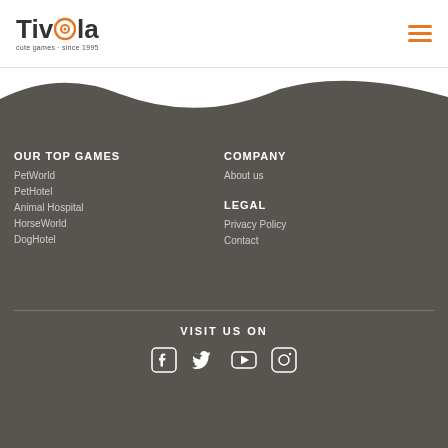Tivola - cute games · since 1995
OUR TOP GAMES
PetWorld
PetHotel
Animal Hospital
HorseWorld
DogHotel
COMPANY
About us
LEGAL
Privacy Policy
Contact
VISIT US ON